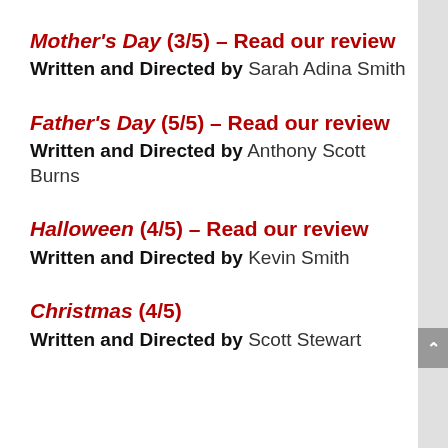Mother's Day (3/5) – Read our review
Written and Directed by Sarah Adina Smith
Father's Day (5/5) – Read our review
Written and Directed by Anthony Scott Burns
Halloween (4/5) – Read our review
Written and Directed by Kevin Smith
Christmas (4/5)
Written and Directed by Scott Stewart